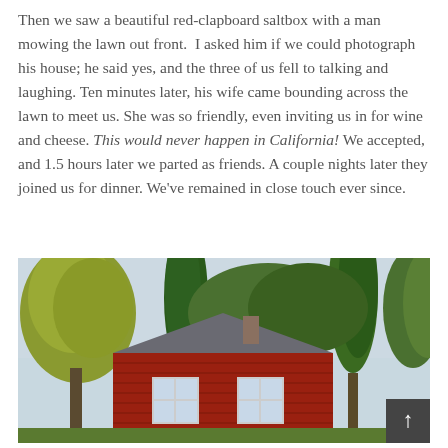Then we saw a beautiful red-clapboard saltbox with a man mowing the lawn out front.  I asked him if we could photograph his house; he said yes, and the three of us fell to talking and laughing. Ten minutes later, his wife came bounding across the lawn to meet us. She was so friendly, even inviting us in for wine and cheese. This would never happen in California! We accepted, and 1.5 hours later we parted as friends. A couple nights later they joined us for dinner. We've remained in close touch ever since.
[Figure (photo): A red-clapboard saltbox house surrounded by tall green trees, with a gray roof and chimney visible. White-trimmed windows on the red siding. A scroll-to-top arrow button appears in the bottom-right corner.]